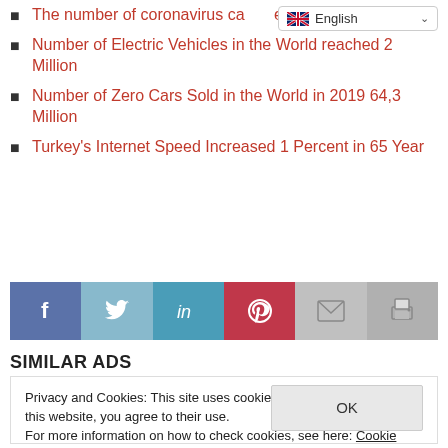[Figure (screenshot): Language selector dropdown showing English with UK flag and chevron]
The number of coronavirus cases exceeded 6 million
Number of Electric Vehicles in the World reached 2 Million
Number of Zero Cars Sold in the World in 2019 64,3 Million
Turkey's Internet Speed Increased 1 Percent in 65 Year
[Figure (other): Social media share buttons: Facebook, Twitter, LinkedIn, Pinterest, Email, Print]
SIMILAR ADS
Privacy and Cookies: This site uses cookies. By continuing to use this website, you agree to their use.
For more information on how to check cookies, see here: Cookie Policy
OK